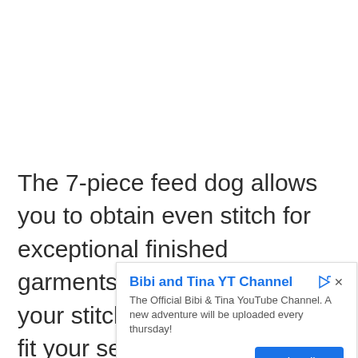The 7-piece feed dog allows you to obtain even stitch for exceptional finished garments. You can also tailor your stitch width and length to fit your sewing requirements. The bobbin system of the device is jam-free and visible at all times sinc, Mag at is gr
[Figure (screenshot): Advertisement overlay for 'Bibi and Tina YT Channel' with title, description 'The Official Bibi & Tina YouTube Channel. A new adventure will be uploaded every thursday!', channel name 'Bibi and Tina', and a blue Subscribe button.]